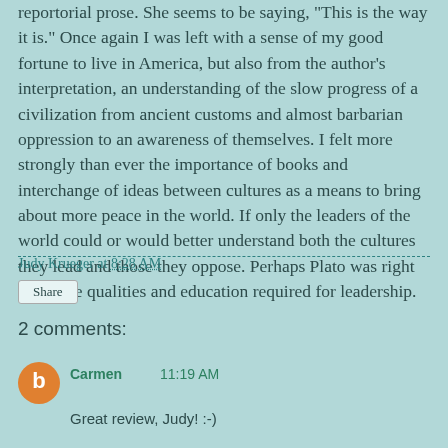reportorial prose. She seems to be saying, "This is the way it is." Once again I was left with a sense of my good fortune to live in America, but also from the author's interpretation, an understanding of the slow progress of a civilization from ancient customs and almost barbarian oppression to an awareness of themselves. I felt more strongly than ever the importance of books and interchange of ideas between cultures as a means to bring about more peace in the world. If only the leaders of the world could or would better understand both the cultures they lead and those they oppose. Perhaps Plato was right about the qualities and education required for leadership.
Judy Krueger at 8:28 AM
Share
2 comments:
Carmen  11:19 AM
Great review, Judy! :-)